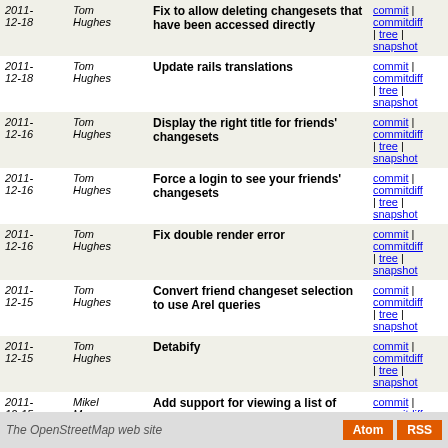| Date | Author | Message | Links |
| --- | --- | --- | --- |
| 2011-12-18 | Tom Hughes | Fix to allow deleting changesets that have been accessed directly | commit | commitdiff | tree | snapshot |
| 2011-12-18 | Tom Hughes | Update rails translations | commit | commitdiff | tree | snapshot |
| 2011-12-16 | Tom Hughes | Display the right title for friends' changesets | commit | commitdiff | tree | snapshot |
| 2011-12-16 | Tom Hughes | Force a login to see your friends' changesets | commit | commitdiff | tree | snapshot |
| 2011-12-16 | Tom Hughes | Fix double render error | commit | commitdiff | tree | snapshot |
| 2011-12-15 | Tom Hughes | Convert friend changeset selection to use Arel queries | commit | commitdiff | tree | snapshot |
| 2011-12-15 | Tom Hughes | Detabify | commit | commitdiff | tree | snapshot |
| 2011-12-15 | Mikel Maron | Add support for viewing a list of your friends' changesets | commit | commitdiff | tree | snapshot |
| 2011-12-13 | Tom Hughes | Add extra login tests for case insensitive usernames | commit | commitdiff | tree | snapshot |
next
The OpenStreetMap web site